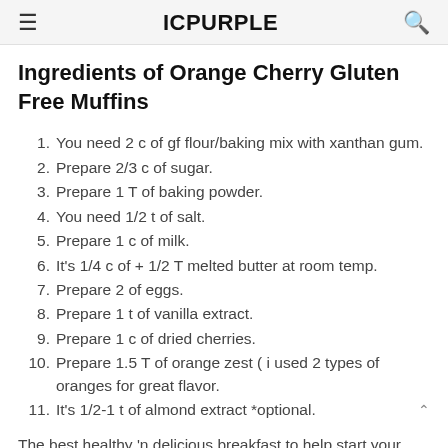ICPURPLE
Ingredients of Orange Cherry Gluten Free Muffins
You need 2 c of gf flour/baking mix with xanthan gum.
Prepare 2/3 c of sugar.
Prepare 1 T of baking powder.
You need 1/2 t of salt.
Prepare 1 c of milk.
It's 1/4 c of + 1/2 T melted butter at room temp.
Prepare 2 of eggs.
Prepare 1 t of vanilla extract.
Prepare 1 c of dried cherries.
Prepare 1.5 T of orange zest ( i used 2 types of oranges for great flavor.
It's 1/2-1 t of almond extract *optional.
The best healthy 'n delicious breakfast to help start your